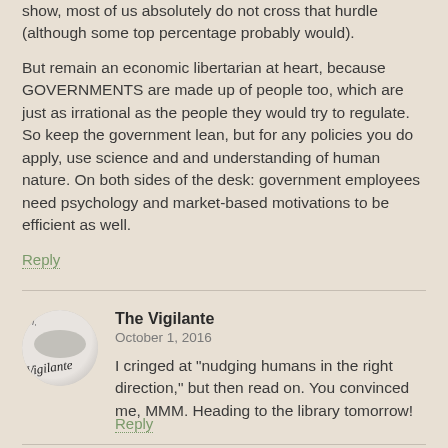show, most of us absolutely do not cross that hurdle (although some top percentage probably would).

But remain an economic libertarian at heart, because GOVERNMENTS are made up of people too, which are just as irrational as the people they would try to regulate. So keep the government lean, but for any policies you do apply, use science and and understanding of human nature. On both sides of the desk: government employees need psychology and market-based motivations to be efficient as well.
Reply
The Vigilante
October 1, 2016
I cringed at "nudging humans in the right direction," but then read on. You convinced me, MMM. Heading to the library tomorrow!
Reply